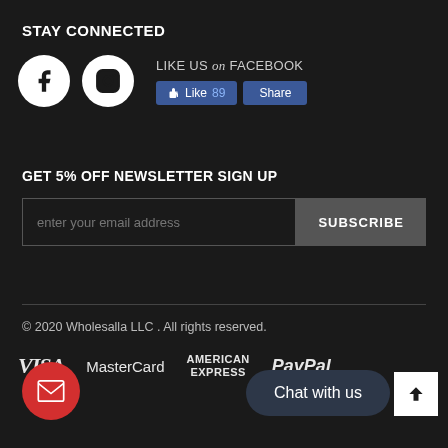STAY CONNECTED
[Figure (other): Facebook and Instagram social media icons (white circles with logos on dark background), alongside a Facebook Like widget showing 'LIKE US on FACEBOOK' with Like (89) and Share buttons]
GET 5% OFF NEWSLETTER SIGN UP
enter your email address [SUBSCRIBE button]
© 2020 Wholesalla LLC . All rights reserved.
[Figure (other): Payment method logos: VISA, MasterCard, AMERICAN EXPRESS, PayPal]
[Figure (other): Red circle email contact button and a dark rounded 'Chat with us' button, plus a white back-to-top arrow button]